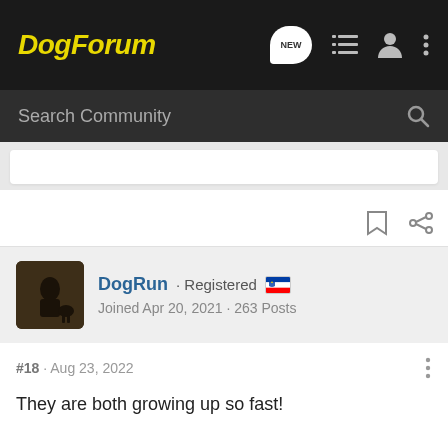DogForum
Search Community
DogRun · Registered
Joined Apr 20, 2021 · 263 Posts
#18 · Aug 23, 2022
They are both growing up so fast!